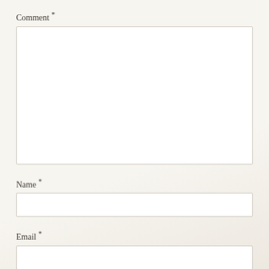Comment *
Name *
Email *
Website